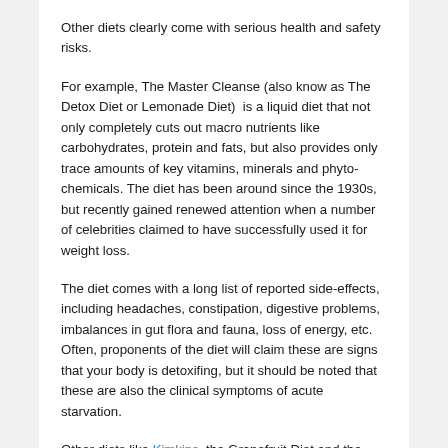Other diets clearly come with serious health and safety risks.
For example, The Master Cleanse (also know as The Detox Diet or Lemonade Diet)  is a liquid diet that not only completely cuts out macro nutrients like carbohydrates, protein and fats, but also provides only trace amounts of key vitamins, minerals and phyto-chemicals. The diet has been around since the 1930s, but recently gained renewed attention when a number of celebrities claimed to have successfully used it for weight loss.
The diet comes with a long list of reported side-effects, including headaches, constipation, digestive problems, imbalances in gut flora and fauna, loss of energy, etc. Often, proponents of the diet will claim these are signs that your body is detoxifing, but it should be noted that these are also the clinical symptoms of acute starvation.
Other diets like Kimkins, the Grapefruit Diet and the